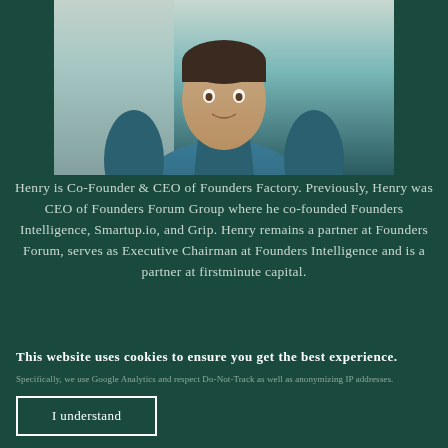[Figure (photo): Profile photo of Henry, showing a man in a teal/blue turtleneck sweater against a light background]
Henry is Co-Founder & CEO of Founders Factory. Previously, Henry was CEO of Founders Forum Group where he co-founded Founders Intelligence, Smartup.io, and Grip. Henry remains a partner at Founders Forum, serves as Executive Chairman at Founders Intelligence and is a partner at firstminute capital.
This website uses cookies to ensure you get the best experience.
Specifically, we use Google Analytics and respect Do-Not-Track as well as anonymizing IP addresses.
I understand